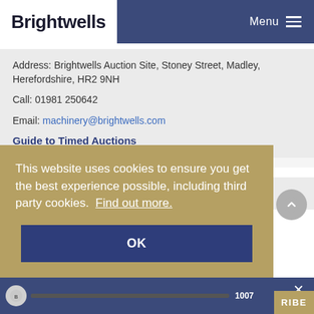Brightwells | Menu
Address: Brightwells Auction Site, Stoney Street, Madley, Herefordshire, HR2 9NH
Call: 01981 250642
Email: machinery@brightwells.com
Guide to Timed Auctions
Search by keyword
This website uses cookies to ensure you get the best experience possible, including third party cookies.  Find out more.
OK